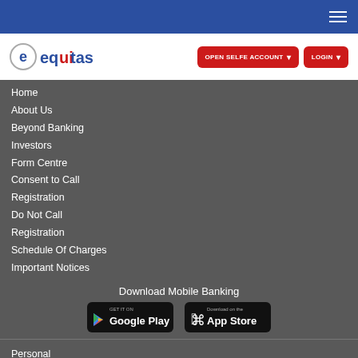[Figure (logo): Equitas bank logo with circular 'e' icon and text equitas]
Home
About Us
Beyond Banking
Investors
Form Centre
Consent to Call
Registration
Do Not Call
Registration
Schedule Of Charges
Important Notices
Download Mobile Banking
[Figure (screenshot): Google Play store badge - GET IT ON Google Play]
[Figure (screenshot): Apple App Store badge - Download on the App Store]
Personal
Business
Policies